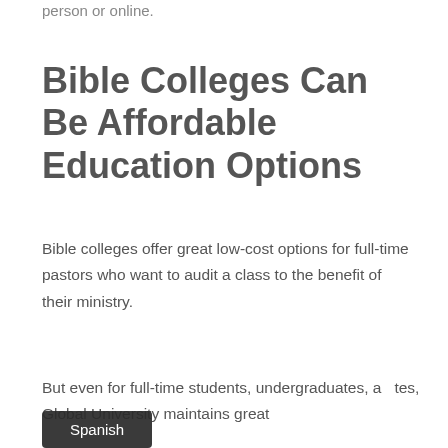person or online.
Bible Colleges Can Be Affordable Education Options
Bible colleges offer great low-cost options for full-time pastors who want to audit a class to the benefit of their ministry.
But even for full-time students, undergraduates, a   tes, Global University maintains great
Spanish